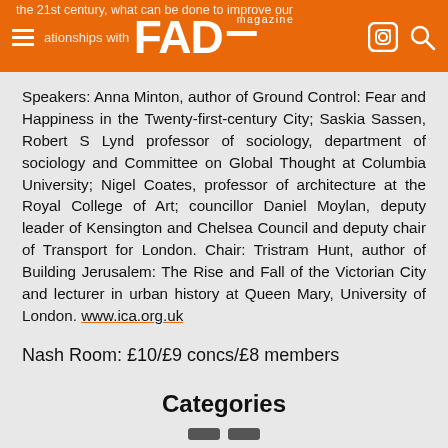FAD magazine
Speakers: Anna Minton, author of Ground Control: Fear and Happiness in the Twenty-first-century City; Saskia Sassen, Robert S Lynd professor of sociology, department of sociology and Committee on Global Thought at Columbia University; Nigel Coates, professor of architecture at the Royal College of Art; councillor Daniel Moylan, deputy leader of Kensington and Chelsea Council and deputy chair of Transport for London. Chair: Tristram Hunt, author of Building Jerusalem: The Rise and Fall of the Victorian City and lecturer in urban history at Queen Mary, University of London. www.ica.org.uk
Nash Room: £10/£9 concs/£8 members
Categories